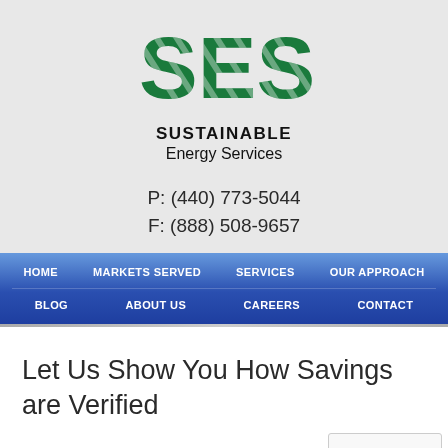[Figure (logo): SES Sustainable Energy Services logo with green letters and diagonal stripe pattern]
P: (440) 773-5044
F: (888) 508-9657
HOME
MARKETS SERVED
SERVICES
OUR APPROACH
BLOG
ABOUT US
CAREERS
CONTACT
Let Us Show You How Savings are Verified